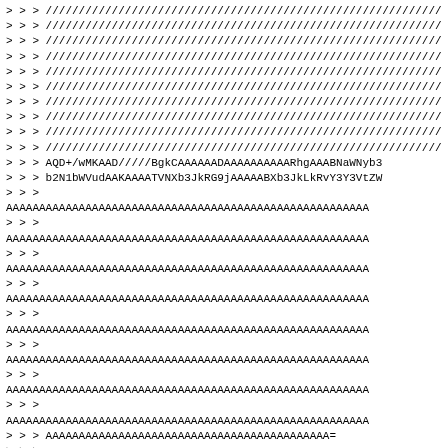> > > ////////////////////////////////////////////////////////////////////
> > > ////////////////////////////////////////////////////////////////////
> > > ////////////////////////////////////////////////////////////////////
> > > ////////////////////////////////////////////////////////////////////
> > > ////////////////////////////////////////////////////////////////////
> > > ////////////////////////////////////////////////////////////////////
> > > ////////////////////////////////////////////////////////////////////
> > > ////////////////////////////////////////////////////////////////////
> > > ////////////////////////////////////////////////////////////////////
> > > ////////////////////////////////////////////////////////////////////
> > > AQD+/wMKAAD/////BgkCAAAAAADAAAAAAAAAARhgAAABNaWNyb3
> > > b2N1bWVudAAKAAAATVNXb3JkRG9jAAAAABXb3JkLkRvY3Y3VtZW
> > >
AAAAAAAAAAAAAAAAAAAAAAAAAAAAAAAAAAAAAAAAAAAAAAAAAAAAAAAA
> > >
AAAAAAAAAAAAAAAAAAAAAAAAAAAAAAAAAAAAAAAAAAAAAAAAAAAAAAAA
> > >
AAAAAAAAAAAAAAAAAAAAAAAAAAAAAAAAAAAAAAAAAAAAAAAAAAAAAAAA
> > >
AAAAAAAAAAAAAAAAAAAAAAAAAAAAAAAAAAAAAAAAAAAAAAAAAAAAAAAA
> > >
AAAAAAAAAAAAAAAAAAAAAAAAAAAAAAAAAAAAAAAAAAAAAAAAAAAAAAAA
> > >
AAAAAAAAAAAAAAAAAAAAAAAAAAAAAAAAAAAAAAAAAAAAAAAAAAAAAAAA
> > >
AAAAAAAAAAAAAAAAAAAAAAAAAAAAAAAAAAAAAAAAAAAAAAAAAAAAAAAA
> > >
AAAAAAAAAAAAAAAAAAAAAAAAAAAAAAAAAAAAAAAAAAAAAAAAAAAAAAAA
> > > AAAAAAAAAAAAAAAAAAAAAAAAAAAAAAAAAAAAAAAAAAA=
> > >